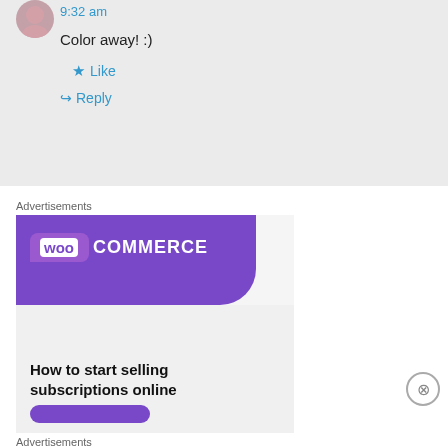9:32 am
Color away! :)
★ Like
↪ Reply
Advertisements
[Figure (screenshot): WooCommerce advertisement banner: purple header with WooCommerce logo, green triangle bottom-left, blue arc bottom-right, text 'How to start selling subscriptions online', purple button, close button]
Advertisements
[Figure (screenshot): Bottom advertisement strip partially visible]